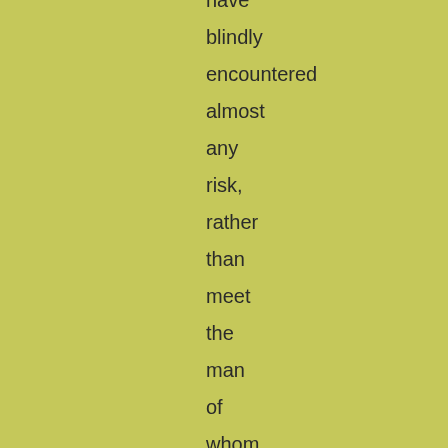have blindly encountered almost any risk, rather than meet the man of whom, two hours ago, he had been